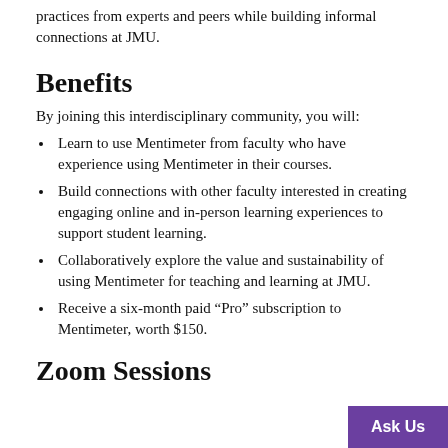practices from experts and peers while building informal connections at JMU.
Benefits
By joining this interdisciplinary community, you will:
Learn to use Mentimeter from faculty who have experience using Mentimeter in their courses.
Build connections with other faculty interested in creating engaging online and in-person learning experiences to support student learning.
Collaboratively explore the value and sustainability of using Mentimeter for teaching and learning at JMU.
Receive a six-month paid “Pro” subscription to Mentimeter, worth $150.
Zoom Sessions
Ask Us